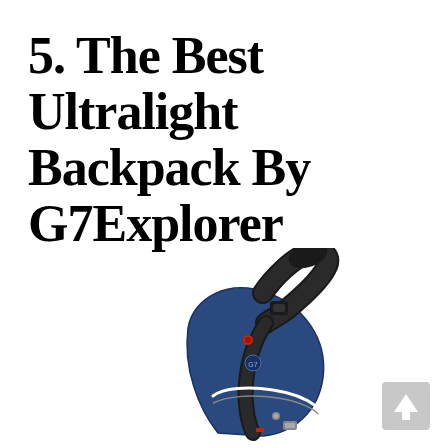5. The Best Ultralight Backpack By G7Explorer
[Figure (photo): A navy blue G7Explorer sling/crossbody ultralight backpack shown from the side, with a single diagonal strap, zippered pockets with white zipper trim, and black padding, against a white background.]
[Figure (other): A light gray square button with a white upward-pointing arrow, positioned in the bottom-right corner of the page.]